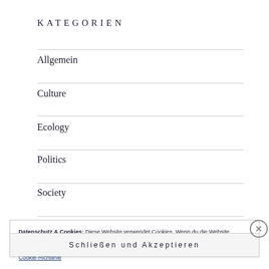KATEGORIEN
Allgemein
Culture
Ecology
Politics
Society
Datenschutz & Cookies: Diese Website verwendet Cookies. Wenn du die Website weiterhin nutzt, stimmst du der Verwendung von Cookies zu.
Weitere Informationen, beispielsweise zur Kontrolle von Cookies, findest du hier: Cookie-Richtlinie
Schließen und Akzeptieren